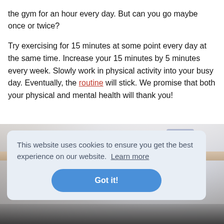the gym for an hour every day. But can you go maybe once or twice?
Try exercising for 15 minutes at some point every day at the same time. Increase your 15 minutes by 5 minutes every week. Slowly work in physical activity into your busy day. Eventually, the routine will stick. We promise that both your physical and mental health will thank you!
[Figure (photo): Photo of a desk with a mug and notebook, partially obscured by cookie consent banner]
This website uses cookies to ensure you get the best experience on our website. Learn more
Got it!